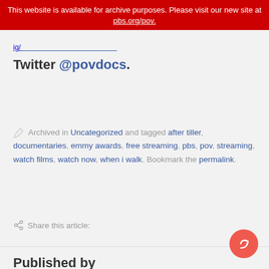This website is available for archive purposes. Please visit our new site at pbs.org/pov.
Twitter @povdocs.
Archived in Uncategorized and tagged after tiller, documentaries, emmy awards, free streaming, pbs, pov, streaming, watch films, watch now, when i walk. Bookmark the permalink.
Share this article:
Published by